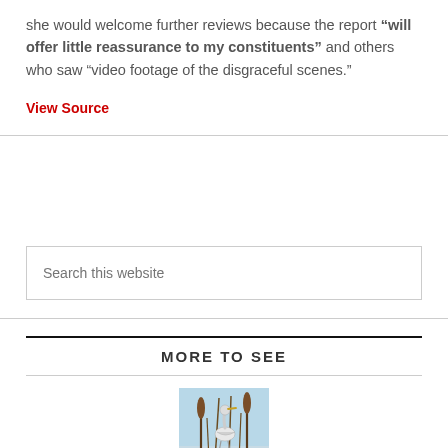she would welcome further reviews because the report “will offer little reassurance to my constituents” and others who saw “video footage of the disgraceful scenes.”
View Source
Search this website
MORE TO SEE
[Figure (illustration): Illustration of a bird (heron or similar wading bird) among cattail reeds against a light blue background]